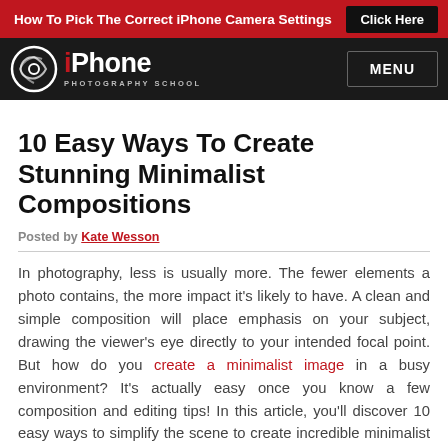How To Pick The Correct iPhone Camera Settings  Click Here
[Figure (logo): iPhone Photography School logo with camera icon, white text on dark background, and MENU button]
10 Easy Ways To Create Stunning Minimalist Compositions
Posted by Kate Wesson
In photography, less is usually more. The fewer elements a photo contains, the more impact it's likely to have. A clean and simple composition will place emphasis on your subject, drawing the viewer's eye directly to your intended focal point. But how do you create a minimalist image in a busy environment? It's actually easy once you know a few composition and editing tips! In this article, you'll discover 10 easy ways to simplify the scene to create incredible minimalist photos with your iPhone.